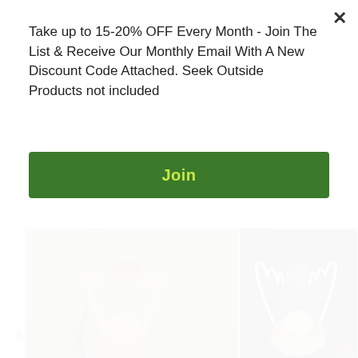Take up to 15-20% OFF Every Month - Join The List & Receive Our Monthly Email With A New Discount Code Attached. Seek Outside Products not included
Join
[Figure (photo): Hunter posing with harvested mule deer and compound bow, outdoors in daylight]
[Figure (photo): Hunter posing with large mule deer antlers and compound bow, at night]
8.  What's your favorite animal and terrain to hunt?
- Big muley's without question. High country, dessert,